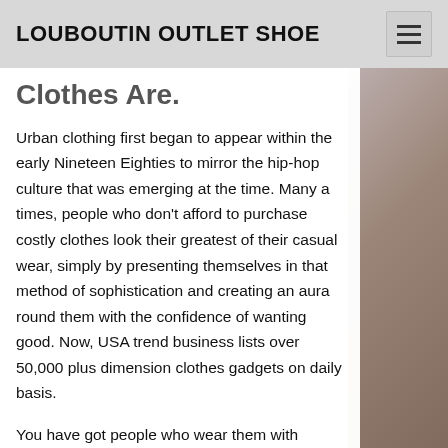LOUBOUTIN OUTLET SHOE
Clothes Are.
Urban clothing first began to appear within the early Nineteen Eighties to mirror the hip-hop culture that was emerging at the time. Many a times, people who don't afford to purchase costly clothes look their greatest of their casual wear, simply by presenting themselves in that method of sophistication and creating an aura round them with the confidence of wanting good. Now, USA trend business lists over 50,000 plus dimension clothes gadgets on daily basis.
You have got people who wear them with denims, shorts, dresses and even suits. Full- figured fashion addict, with a discerning eye for high quality, vogue,